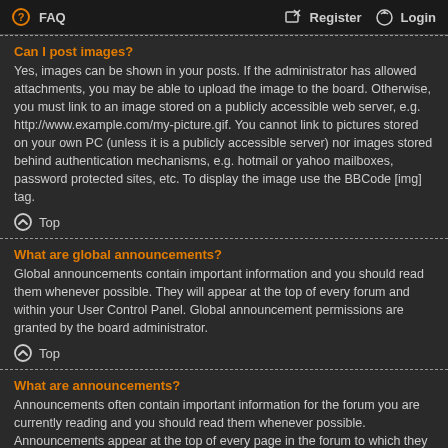FAQ   Register   Login
Can I post images?
Yes, images can be shown in your posts. If the administrator has allowed attachments, you may be able to upload the image to the board. Otherwise, you must link to an image stored on a publicly accessible web server, e.g. http://www.example.com/my-picture.gif. You cannot link to pictures stored on your own PC (unless it is a publicly accessible server) nor images stored behind authentication mechanisms, e.g. hotmail or yahoo mailboxes, password protected sites, etc. To display the image use the BBCode [img] tag.
Top
What are global announcements?
Global announcements contain important information and you should read them whenever possible. They will appear at the top of every forum and within your User Control Panel. Global announcement permissions are granted by the board administrator.
Top
What are announcements?
Announcements often contain important information for the forum you are currently reading and you should read them whenever possible.
Announcements appear at the top of every page in the forum to which they are